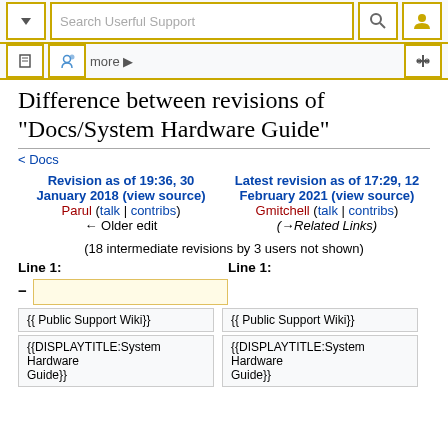Search Userful Support
Difference between revisions of "Docs/System Hardware Guide"
< Docs
Revision as of 19:36, 30 January 2018 (view source)
Parul (talk | contribs)
← Older edit

Latest revision as of 17:29, 12 February 2021 (view source)
Gmitchell (talk | contribs)
(→Related Links)
(18 intermediate revisions by 3 users not shown)
Line 1:
Line 1:
|  | {{ Public Support Wiki}} |
| {{DISPLAYTITLE:System Hardware Guide}} | {{DISPLAYTITLE:System Hardware Guide}} |